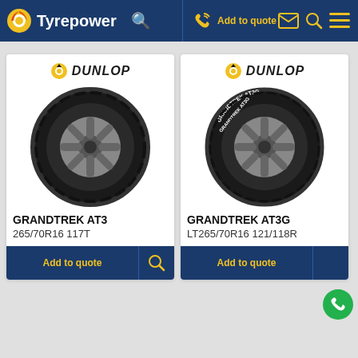Tyrepower | Add to quote
[Figure (photo): Dunlop Grandtrek AT3 tyre product card showing tyre image, brand logo, product name GRANDTREK AT3, spec 265/70R16 117T, and Add to quote button]
[Figure (photo): Dunlop Grandtrek AT3G tyre product card showing tyre image with white lettering, brand logo, product name GRANDTREK AT3G, spec LT265/70R16 121/118R, and Add to quote button]